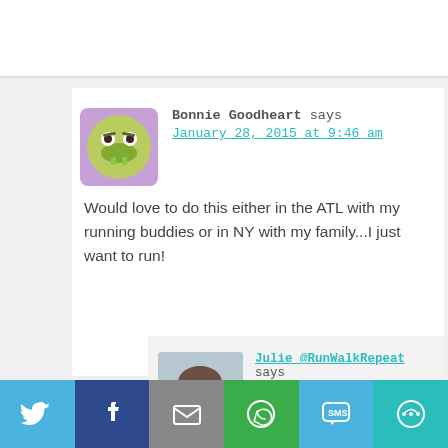Bonnie Goodheart says
January 28, 2015 at 9:46 am
Would love to do this either in the ATL with my running buddies or in NY with my family...I just want to run!
Julie @RunWalkRepeat says
January 28, 2015 at 12:34 pm
I wish it wasn't our spring break! This IS the race to do wtib a group I think, I
[Figure (infographic): Social share bar with Twitter, Facebook, Email, WhatsApp, SMS, and more buttons]